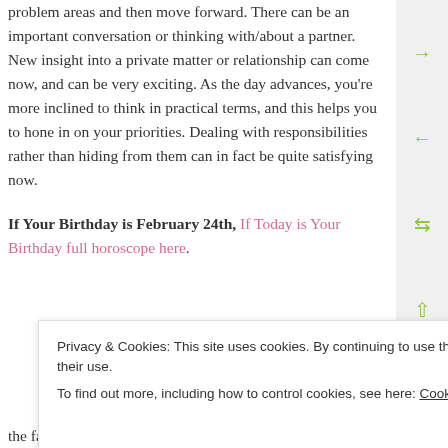problem areas and then move forward. There can be an important conversation or thinking with/about a partner. New insight into a private matter or relationship can come now, and can be very exciting. As the day advances, you're more inclined to think in practical terms, and this helps you to hone in on your priorities. Dealing with responsibilities rather than hiding from them can in fact be quite satisfying now.
If Your Birthday is February 24th, If Today is Your Birthday full horoscope here.
Privacy & Cookies: This site uses cookies. By continuing to use this website, you agree to their use. To find out more, including how to control cookies, see here: Cookie Policy
the factors considered in the forecasts (for the